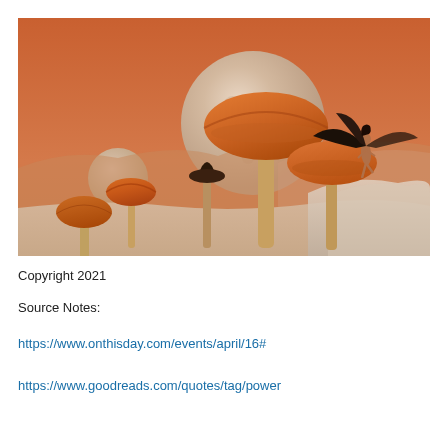[Figure (illustration): Fantasy digital art scene: an alien or otherworldly landscape with an orange/red sky and large moons. Oversized mushrooms in brown and orange tones stand in a sandy desert terrain. A dark-winged angelic figure with black wings stands atop one of the larger mushroom caps on the right side.]
Copyright 2021
Source Notes:
https://www.onthisday.com/events/april/16#
https://www.goodreads.com/quotes/tag/power